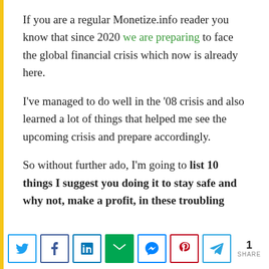If you are a regular Monetize.info reader you know that since 2020 we are preparing to face the global financial crisis which now is already here.
I've managed to do well in the '08 crisis and also learned a lot of things that helped me see the upcoming crisis and prepare accordingly.
So without further ado, I'm going to list 10 things I suggest you doing it to stay safe and why not, make a profit, in these troubling
[Figure (other): Social share bar with Twitter, Facebook, LinkedIn, Email, Messenger, Pinterest, Telegram buttons and a share count of 1]